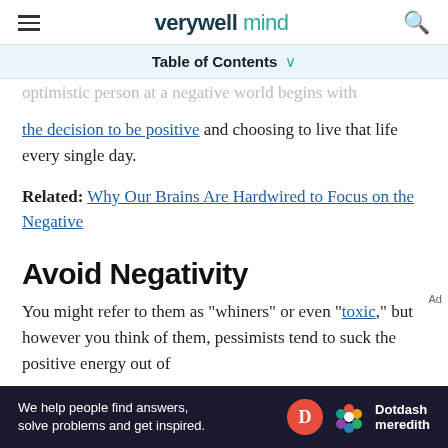verywell mind
Table of Contents
optimistic person at a negative world begins with the decision to be positive and choosing to live that life every single day.
Related: Why Our Brains Are Hardwired to Focus on the Negative
Avoid Negativity
You might refer to them as "whiners" or even "toxic," but however you think of them, pessimists tend to suck the positive energy out of